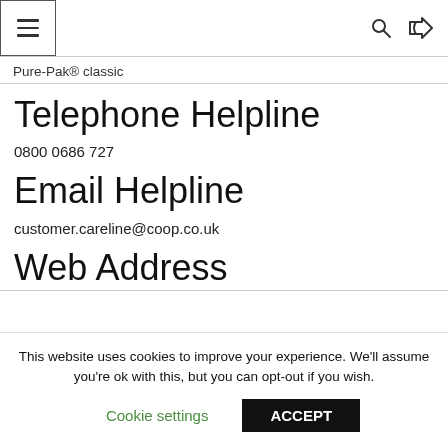Pure-Pak® classic
Telephone Helpline
0800 0686 727
Email Helpline
customer.careline@coop.co.uk
Web Address
This website uses cookies to improve your experience. We'll assume you're ok with this, but you can opt-out if you wish.
Cookie settings  ACCEPT